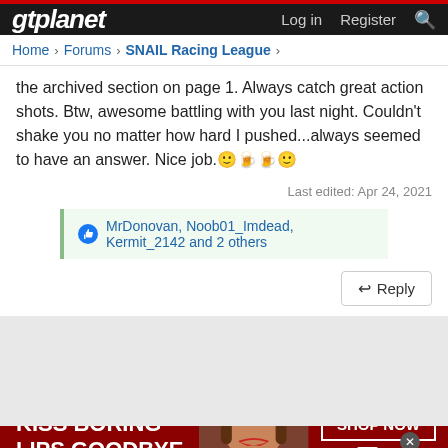gtplanet | Log in  Register
Home > Forums > SNAIL Racing League >
the archived section on page 1. Always catch great action shots. Btw, awesome battling with you last night. Couldn't shake you no matter how hard I pushed...always seemed to have an answer. Nice job.
Last edited: Apr 24, 2021
MrDonovan, Noob01_Imdead, Kermit_2142 and 2 others
Reply
[Figure (photo): Advertisement banner: KISS BORING LIPS GOODBYE - SHOP NOW - macys]